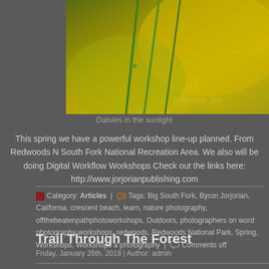[Figure (photo): Close-up macro photo of green grass blades or daisy stems against a yellow-green blurred background, with a copyright watermark '© Byron Jor' visible in the lower right]
Daisies in the sunlight
This spring we have a powerful workshop line-up planned. From Redwoods N South Fork National Recreation Area. We also will be doing Digital Workflow Workshops Check out the links here: http://www.jorjorianpublishing.com
Category: Articles  |  Tags: Big South Fork, Byron Jorjorian, California, crescent beach, learn, nature photography, offthebeatenpathphotoworkshops, Outdoors, photographers on word photography workshops, redwoods, Redwoods National Park, Spring, Workshops, Workshops a photography  |  Comments off
Trail Through The Forest
Friday, January 26th, 2018 | Author: admin